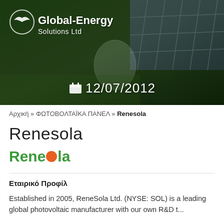[Figure (photo): Header image showing Global-Energy Solutions Ltd logo over background with grass, light bulb, and solar panel. Date 12/07/2012 shown at bottom of image.]
Αρχική » ΦΩΤΟΒΟΛΤΑΪΚΑ ΠΑΝΕΛ » Renesola
Renesola
[Figure (logo): ReneSola company logo in green with orange dot replacing the second 'o']
Εταιρικό Προφίλ
Established in 2005, ReneSola Ltd. (NYSE: SOL) is a leading global photovoltaic manufacturer with our own R&D teams and manufacturing facilities and global